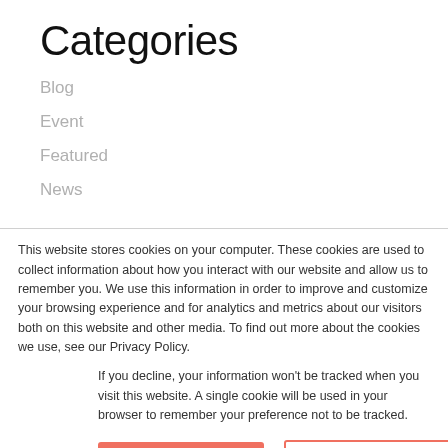Categories
Blog
Event
Featured
News
This website stores cookies on your computer. These cookies are used to collect information about how you interact with our website and allow us to remember you. We use this information in order to improve and customize your browsing experience and for analytics and metrics about our visitors both on this website and other media. To find out more about the cookies we use, see our Privacy Policy.
If you decline, your information won't be tracked when you visit this website. A single cookie will be used in your browser to remember your preference not to be tracked.